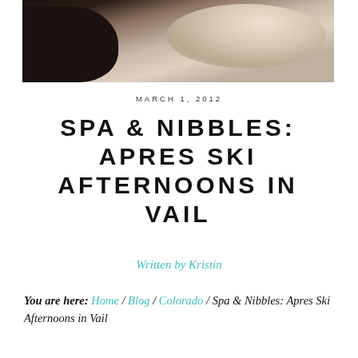[Figure (photo): Close-up photo showing what appears to be a spa or massage scene with dark and light tones, predominantly dark background with skin tones visible]
MARCH 1, 2012
SPA & NIBBLES: APRES SKI AFTERNOONS IN VAIL
Written by Kristin
You are here: Home / Blog / Colorado / Spa & Nibbles: Apres Ski Afternoons in Vail